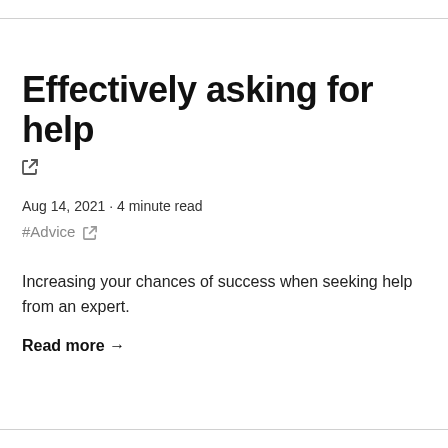Effectively asking for help
Aug 14, 2021 · 4 minute read
#Advice
Increasing your chances of success when seeking help from an expert.
Read more →